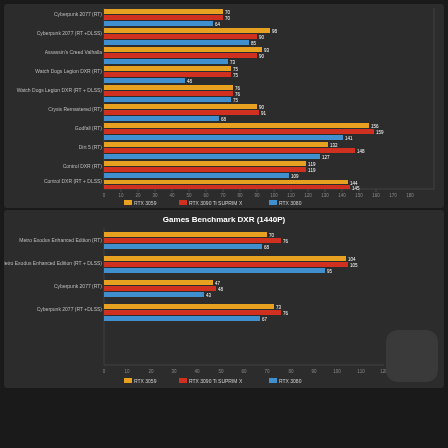[Figure (grouped-bar-chart): Games Benchmark DXR (1080P or similar)]
[Figure (grouped-bar-chart): Games Benchmark DXR (1440P)]